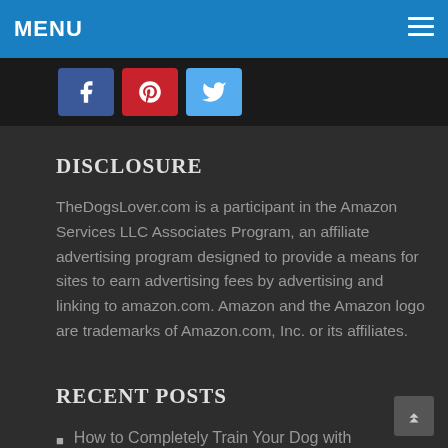MENU
[Figure (other): Social media share buttons: Facebook (blue), Pinterest (red), Twitter (light blue)]
DISCLOSURE
TheDogsLover.com is a participant in the Amazon Services LLC Associates Program, an affiliate advertising program designed to provide a means for sites to earn advertising fees by advertising and linking to amazon.com. Amazon and the Amazon logo are trademarks of Amazon.com, Inc. or its affiliates.
RECENT POSTS
How to Completely Train Your Dog with